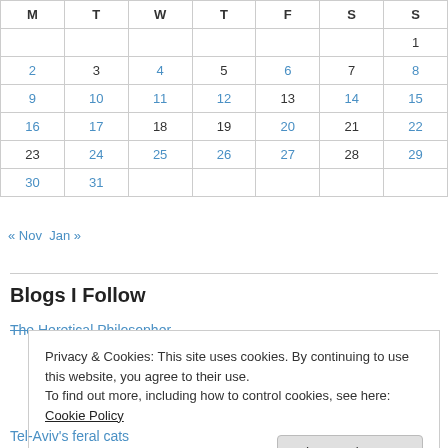| M | T | W | T | F | S | S |
| --- | --- | --- | --- | --- | --- | --- |
|  |  |  |  |  |  | 1 |
| 2 | 3 | 4 | 5 | 6 | 7 | 8 |
| 9 | 10 | 11 | 12 | 13 | 14 | 15 |
| 16 | 17 | 18 | 19 | 20 | 21 | 22 |
| 23 | 24 | 25 | 26 | 27 | 28 | 29 |
| 30 | 31 |  |  |  |  |  |
« Nov   Jan »
Blogs I Follow
The Heretical Philosopher
Privacy & Cookies: This site uses cookies. By continuing to use this website, you agree to their use.
To find out more, including how to control cookies, see here: Cookie Policy
Tel-Aviv's feral cats